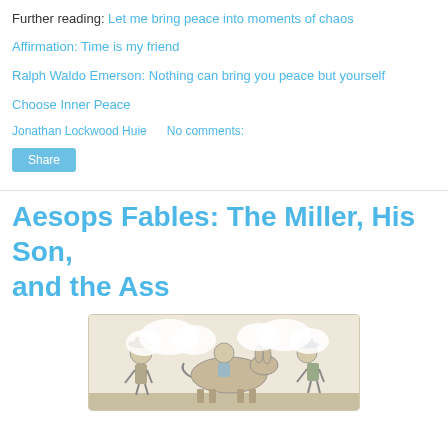Further reading: Let me bring peace into moments of chaos
Affirmation: Time is my friend
Ralph Waldo Emerson: Nothing can bring you peace but yourself
Choose Inner Peace
Jonathan Lockwood Huie   No comments:
Share
Aesops Fables: The Miller, His Son, and the Ass
[Figure (illustration): Partial illustration showing cartoon/drawing figures, appearing to be characters from the Aesop's fable including a miller and his son, cropped at the bottom of the page.]